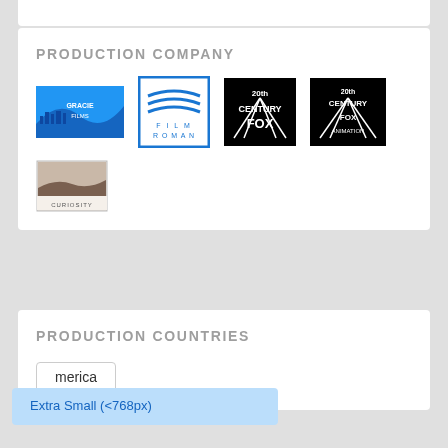PRODUCTION COMPANY
[Figure (logo): Gracie Films logo - blue hill silhouette with city skyline]
[Figure (logo): Film Roman logo - blue square with wavy lines]
[Figure (logo): 20th Century Fox logo - black and white spotlight logo]
[Figure (logo): 20th Century Fox Animation logo - black and white]
[Figure (logo): Curiosity logo - small landscape image with text]
PRODUCTION COUNTRIES
Extra Small (<768px)
America